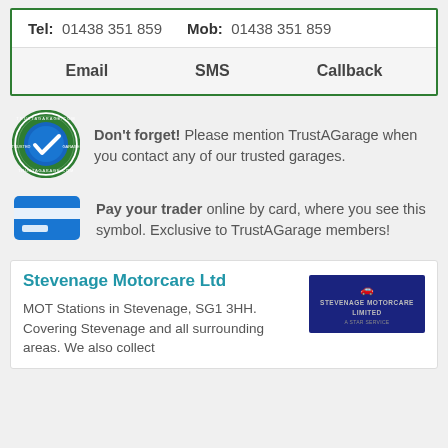Tel: 01438 351 859    Mob: 01438 351 859
Email   SMS   Callback
[Figure (logo): TrustAGarage circular green and blue trusted badge logo]
Don't forget! Please mention TrustAGarage when you contact any of our trusted garages.
[Figure (illustration): Blue credit/debit card icon]
Pay your trader online by card, where you see this symbol. Exclusive to TrustAGarage members!
Stevenage Motorcare Ltd
MOT Stations in Stevenage, SG1 3HH. Covering Stevenage and all surrounding areas. We also collect
[Figure (logo): Stevenage Motorcare Limited logo on dark blue background]